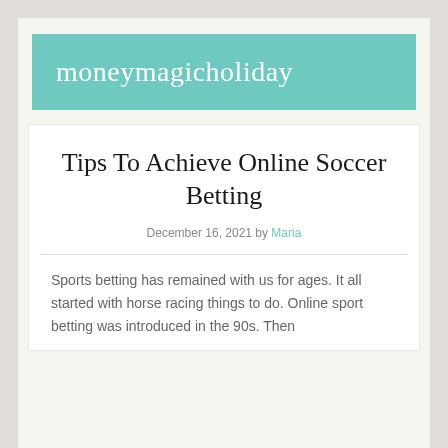moneymagicholiday
Tips To Achieve Online Soccer Betting
December 16, 2021 by Maria
Sports betting has remained with us for ages. It all started with horse racing things to do. Online sport betting was introduced in the 90s. Then